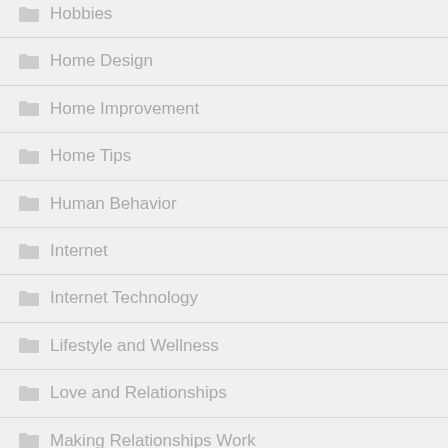Hobbies
Home Design
Home Improvement
Home Tips
Human Behavior
Internet
Internet Technology
Lifestyle and Wellness
Love and Relationships
Making Relationships Work